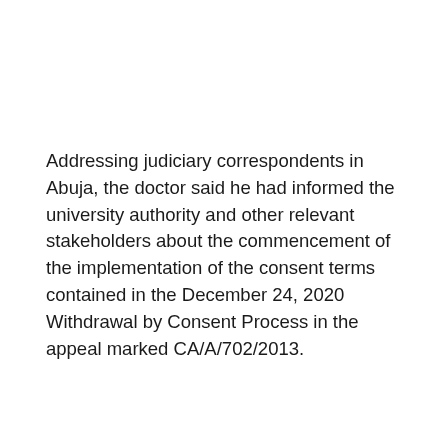Addressing judiciary correspondents in Abuja, the doctor said he had informed the university authority and other relevant stakeholders about the commencement of the implementation of the consent terms contained in the December 24, 2020 Withdrawal by Consent Process in the appeal marked CA/A/702/2013.